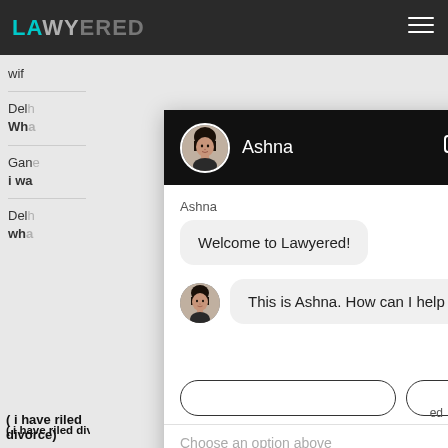[Figure (screenshot): Screenshot of a legal chat widget on the Lawyered website. The chat header shows a profile photo of 'Ashna' on a black background with message and close icons. The chat body contains two messages: 'Welcome to Lawyered!' and 'This is Ashna. How can I help you?' with button options and an input area reading 'Choose an option above'. Background shows partially visible website content with text 'wifi', 'Delhi', 'What', 'Gane', 'i wa', 'Delhi', 'wha', '(i have riled divorce)' and the Lawyered logo.]